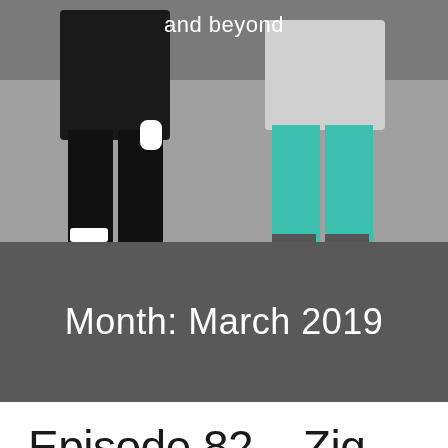[Figure (photo): Two people walking side by side, visible from waist down. Left person wears black pants and white gloves, right person wears teal/turquoise pants. Background is grey pavement.]
and beyond
Month: March 2019
Episode 82 – Zig Zag Zion